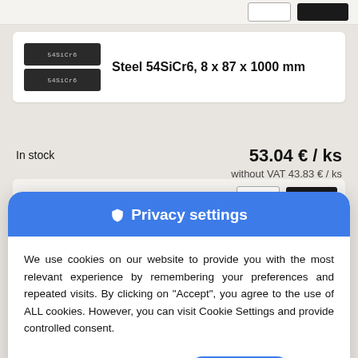Steel 54SiCr6, 8 x 87 x 1000 mm
In stock
53.04 € / ks
without VAT 43.83 € / ks
Privacy settings
We use cookies on our website to provide you with the most relevant experience by remembering your preferences and repeated visits. By clicking on "Accept", you agree to the use of ALL cookies. However, you can visit Cookie Settings and provide controlled consent.
Cookie settings
Accept